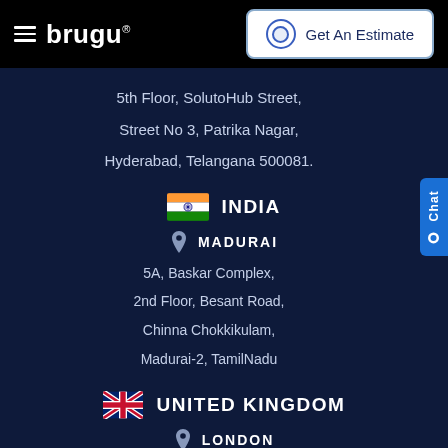brugu | Get An Estimate
5th Floor, SolutoHub Street,
Street No 3, Patrika Nagar,
Hyderabad, Telangana 500081.
INDIA
MADURAI
5A, Baskar Complex,
2nd Floor, Besant Road,
Chinna Chokkikulam,
Madurai-2, TamilNadu
UNITED KINGDOM
LONDON